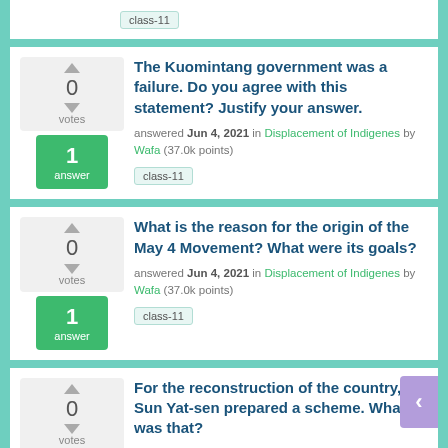class-11 (tag, partial top card)
The Kuomintang government was a failure. Do you agree with this statement? Justify your answer. answered Jun 4, 2021 in Displacement of Indigenes by Wafa (37.0k points) class-11
What is the reason for the origin of the May 4 Movement? What were its goals? answered Jun 4, 2021 in Displacement of Indigenes by Wafa (37.0k points) class-11
For the reconstruction of the country, Sun Yat-sen prepared a scheme. What was that? (partial)